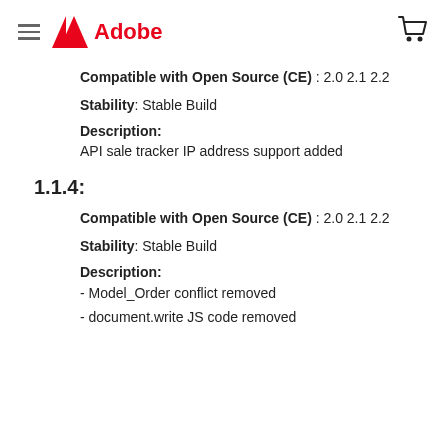Adobe
Compatible with Open Source (CE) : 2.0 2.1 2.2
Stability: Stable Build
Description:
API sale tracker IP address support added
1.1.4:
Compatible with Open Source (CE) : 2.0 2.1 2.2
Stability: Stable Build
Description:
- Model_Order conflict removed
- document.write JS code removed